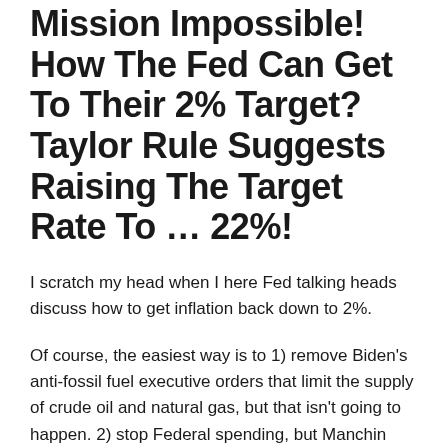Mission Impossible! How The Fed Can Get To Their 2% Target? Taylor Rule Suggests Raising The Target Rate To … 22%!
I scratch my head when I here Fed talking heads discuss how to get inflation back down to 2%.
Of course, the easiest way is to 1) remove Biden's anti-fossil fuel executive orders that limit the supply of crude oil and natural gas, but that isn't going to happen. 2) stop Federal spending, but Manchin and Sienma